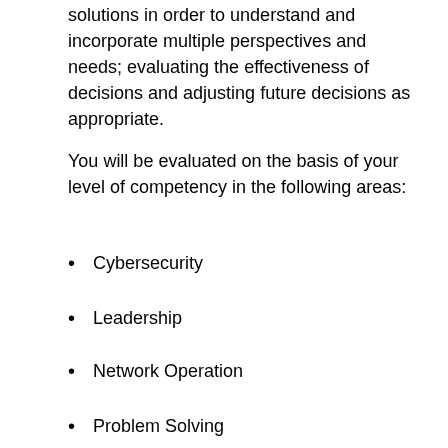solutions in order to understand and incorporate multiple perspectives and needs; evaluating the effectiveness of decisions and adjusting future decisions as appropriate.
You will be evaluated on the basis of your level of competency in the following areas:
Cybersecurity
Leadership
Network Operation
Problem Solving
Time in Grade Requirement: Applicants who have held a General Schedule (GS) position within the last 52 weeks must have 52 weeks of Federal service at the next lower grade or equivalent (GS-12).